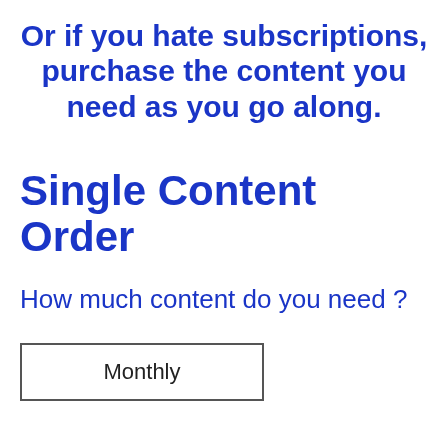Or if you hate subscriptions, purchase the content you need as you go along.
Single Content Order
How much content do you need ?
Monthly